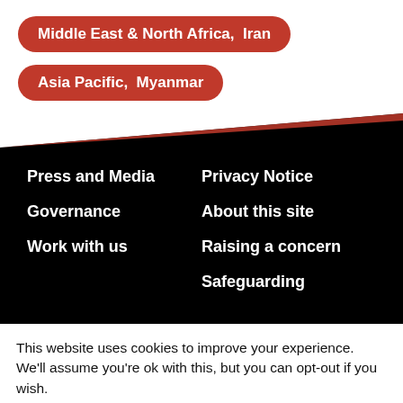Middle East & North Africa,  Iran
Asia Pacific,  Myanmar
Press and Media
Privacy Notice
Governance
About this site
Work with us
Raising a concern
Safeguarding
This website uses cookies to improve your experience. We'll assume you're ok with this, but you can opt-out if you wish.
Cookie settings
ACCEPT
Privacy and Cookie Policy